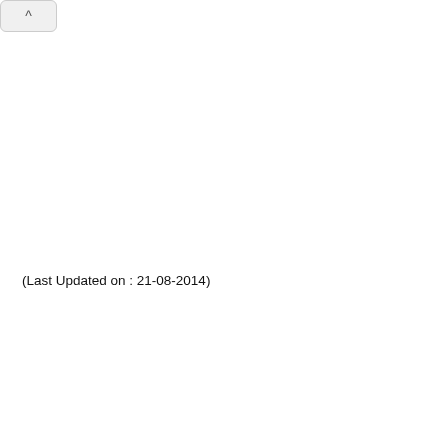[Figure (other): A scroll-to-top button (chevron/caret up arrow icon) in the top-left corner of the page, rendered as a rounded rectangle button with a dark upward-pointing caret symbol.]
(Last Updated on : 21-08-2014)